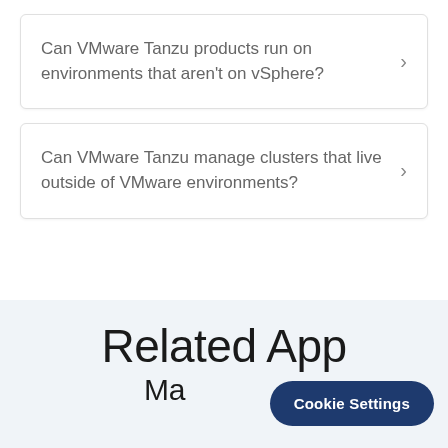Can VMware Tanzu products run on environments that aren't on vSphere?
Can VMware Tanzu manage clusters that live outside of VMware environments?
Related App
Cookie Settings